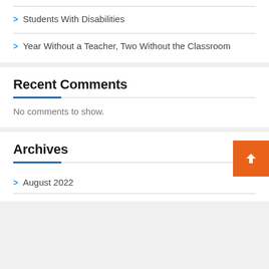Students With Disabilities
Year Without a Teacher, Two Without the Classroom
Recent Comments
No comments to show.
Archives
August 2022